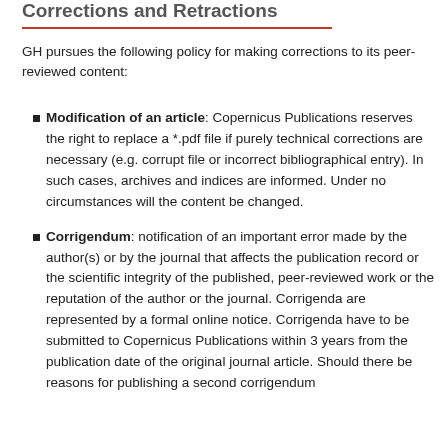Corrections and Retractions
GH pursues the following policy for making corrections to its peer-reviewed content:
Modification of an article: Copernicus Publications reserves the right to replace a *.pdf file if purely technical corrections are necessary (e.g. corrupt file or incorrect bibliographical entry). In such cases, archives and indices are informed. Under no circumstances will the content be changed.
Corrigendum: notification of an important error made by the author(s) or by the journal that affects the publication record or the scientific integrity of the published, peer-reviewed work or the reputation of the author or the journal. Corrigenda are represented by a formal online notice. Corrigenda have to be submitted to Copernicus Publications within 3 years from the publication date of the original journal article. Should there be reasons for publishing a second corrigendum